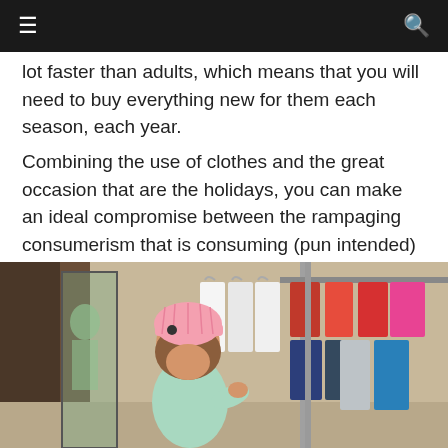≡  🔍
lot faster than adults, which means that you will need to buy everything new for them each season, each year.
Combining the use of clothes and the great occasion that are the holidays, you can make an ideal compromise between the rampaging consumerism that is consuming (pun intended) our society and the simple needs of your child.
[Figure (photo): A young child wearing a pink knit beanie hat and light blue shirt browsing through children's clothing on hangers in a retail store. Colorful clothes visible on racks in the background.]